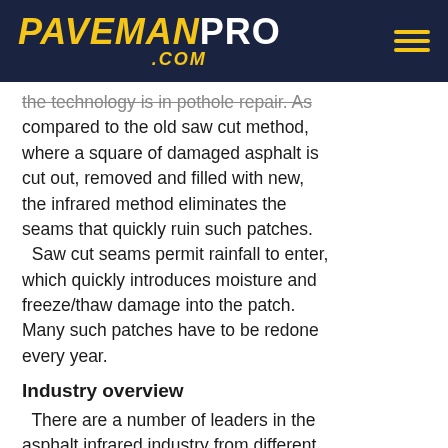PAVEMAN PRO .COM
the technology is in pothole repair. As compared to the old saw cut method, where a square of damaged asphalt is cut out, removed and filled with new, the infrared method eliminates the seams that quickly ruin such patches. Saw cut seams permit rainfall to enter, which quickly introduces moisture and freeze/thaw damage into the patch. Many such patches have to be redone every year.
Industry overview
There are a number of leaders in the asphalt infrared industry from different